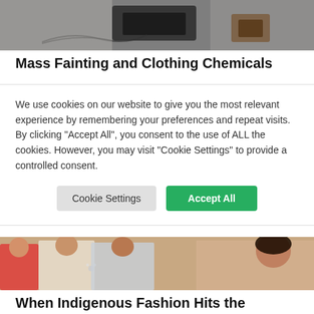[Figure (photo): Dark industrial scene with what appears to be machinery or containers on a concrete surface]
Mass Fainting and Clothing Chemicals
We use cookies on our website to give you the most relevant experience by remembering your preferences and repeat visits. By clicking “Accept All”, you consent to the use of ALL the cookies. However, you may visit “Cookie Settings” to provide a controlled consent.
[Figure (photo): Group of women in formal/traditional attire at what appears to be a fashion event]
When Indigenous Fashion Hits the Runway, Details Matter